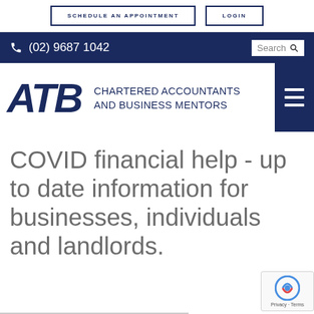[Figure (screenshot): Website header with SCHEDULE AN APPOINTMENT and LOGIN buttons]
[Figure (screenshot): Navy navigation bar with phone number (02) 9687 1042 and search box]
[Figure (logo): ATB Chartered Accountants and Business Mentors logo with hamburger menu icon]
COVID financial help - up to date information for businesses, individuals and landlords.